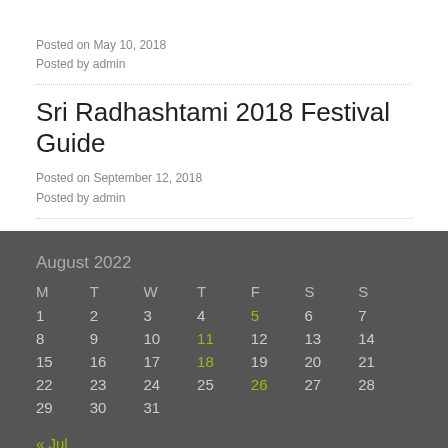Posted on May 10, 2018
Posted by admin
Sri Radhashtami 2018 Festival Guide
Posted on September 12, 2018
Posted by admin
| M | T | W | T | F | S | S |
| --- | --- | --- | --- | --- | --- | --- |
| 1 | 2 | 3 | 4 | 5 | 6 | 7 |
| 8 | 9 | 10 | 11 | 12 | 13 | 14 |
| 15 | 16 | 17 | 18 | 19 | 20 | 21 |
| 22 | 23 | 24 | 25 | 26 | 27 | 28 |
| 29 | 30 | 31 |  |  |  |  |
« Jul